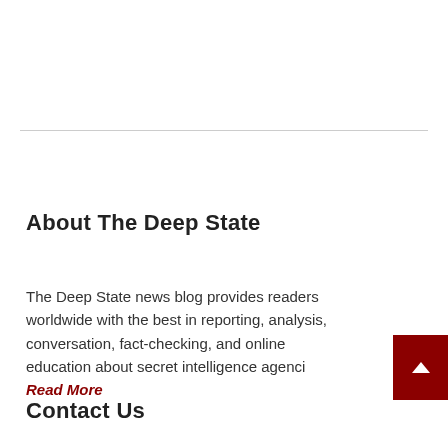About The Deep State
The Deep State news blog provides readers worldwide with the best in reporting, analysis, conversation, fact-checking, and online education about secret intelligence agenci… Read More
Contact Us